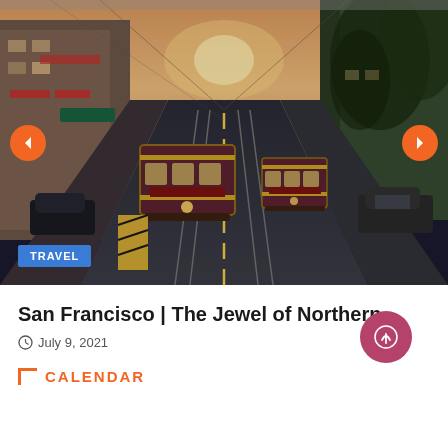[Figure (photo): San Francisco cable cars on a steep city street with buildings and trees, warm golden light in background. Orange navigation arrows on left and right sides. Blue 'TRAVEL' badge in lower left corner.]
San Francisco | The Jewel of Northern...
July 9, 2021
CALENDAR